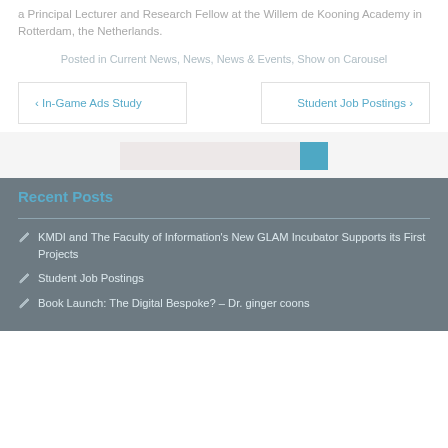a Principal Lecturer and Research Fellow at the Willem de Kooning Academy in Rotterdam, the Netherlands.
Posted in Current News, News, News & Events, Show on Carousel
< In-Game Ads Study
Student Job Postings >
Recent Posts
KMDI and The Faculty of Information's New GLAM Incubator Supports its First Projects
Student Job Postings
Book Launch: The Digital Bespoke? – Dr. ginger coons